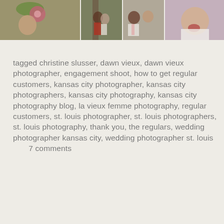[Figure (photo): A collage of four portrait/family photographs arranged in a horizontal row: a baby girl in green crochet hat holding a pink flower, a couple embracing outdoors, a couple posing together, and a baby with food on its face.]
tagged christine slusser, dawn vieux, dawn vieux photographer, engagement shoot, how to get regular customers, kansas city photographer, kansas city photographers, kansas city photography, kansas city photography blog, la vieux femme photography, regular customers, st. louis photographer, st. louis photographers, st. louis photography, thank you, the regulars, wedding photographer kansas city, wedding photographer st. louis       7 comments